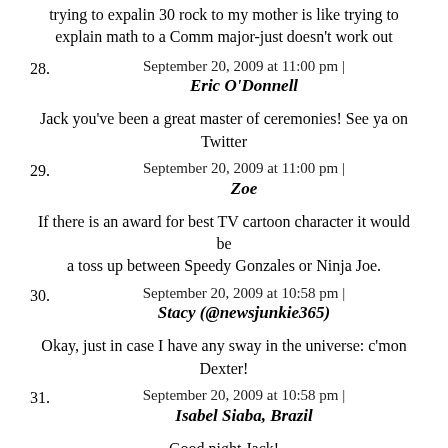trying to expalin 30 rock to my mother is like trying to explain math to a Comm major-just doesn't work out
28. September 20, 2009 at 11:00 pm | Eric O'Donnell
Jack you've been a great master of ceremonies! See ya on Twitter
29. September 20, 2009 at 11:00 pm | Zoe
If there is an award for best TV cartoon character it would be a toss up between Speedy Gonzales or Ninja Joe.
30. September 20, 2009 at 10:58 pm | Stacy (@newsjunkie365)
Okay, just in case I have any sway in the universe: c'mon Dexter!
31. September 20, 2009 at 10:58 pm | Isabel Siaba, Brazil
Good night Jack! Thank you for for this plus live blog... It was fun!